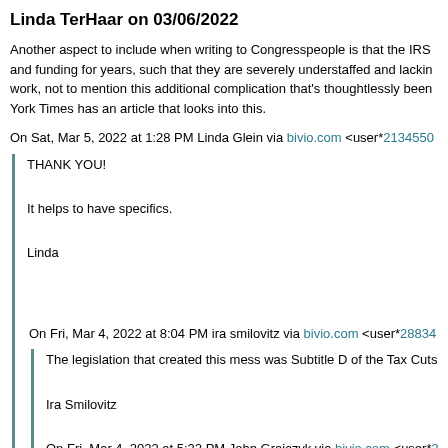Linda TerHaar on 03/06/2022
Another aspect to include when writing to Congresspeople is that the IRS and funding for years, such that they are severely understaffed and lacking work, not to mention this additional complication that's thoughtlessly been York Times has an article that looks into this.
On Sat, Mar 5, 2022 at 1:28 PM Linda Glein via bivio.com <user*2134550
THANK YOU!

It helps to have specifics.

Linda
On Fri, Mar 4, 2022 at 8:04 PM ira smilovitz via bivio.com <user*28834
The legislation that created this mess was Subtitle D of the Tax Cuts
Ira Smilovitz
On Fri, Mar 4, 2022 at 5:22 PM John Grajczyk via bivio.com <user*3 wrote:
One question I thought of is "who is going to go through our tax su take a week to figure out what activities are going on.